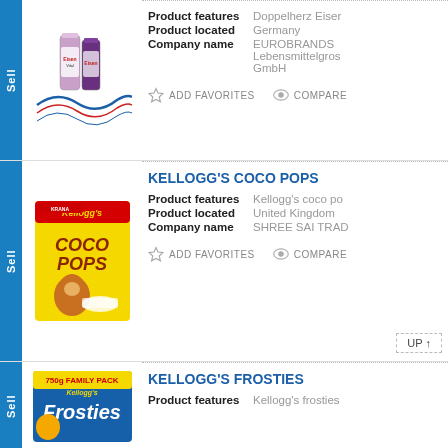[Figure (photo): Doppelherz Eisen product bottles with blue wave logo]
Product features: Doppelherz Eiser
Product located: Germany
Company name: EUROBRANDS Lebensmittelgros GmbH
ADD FAVORITES   COMPARE
KELLOGG'S COCO POPS
[Figure (photo): Kellogg's Coco Pops cereal box]
Product features: Kellogg's coco po
Product located: United Kingdom
Company name: SHREE SAI TRAD
ADD FAVORITES   COMPARE
KELLOGG'S FROSTIES
[Figure (photo): Kellogg's Frosties 750g Family Pack cereal box]
Product features: Kellogg's frosties